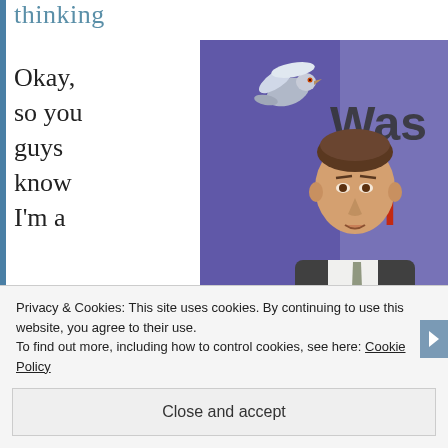thinking
Okay, so you guys know I'm a
[Figure (photo): A man in a dark suit holding up a pair of light blue underwear at a podium, with a pigeon/dove flying above him. In the background is a banner partially reading 'Was' and 'Bri' in red letters on a blue/purple background.]
Privacy & Cookies: This site uses cookies. By continuing to use this website, you agree to their use.
To find out more, including how to control cookies, see here: Cookie Policy
Close and accept